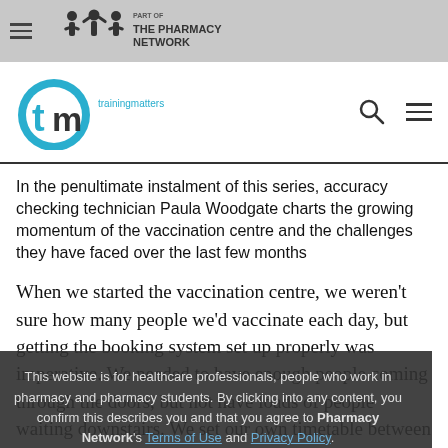THE PHARMACY NETWORK — trainingmatters (tm logo)
In the penultimate instalment of this series, accuracy checking technician Paula Woodgate charts the growing momentum of the vaccination centre and the challenges they have faced over the last few months
When we started the vaccination centre, we weren't sure how many people we'd vaccinate each day, but getting the booking system set up properly was imperative. We needed to have enough people coming through the doors, but not have loads of people waiting downstairs. We set our own timetable between 8am and 8pm, running two clinics with a
This website is for healthcare professionals, people who work in pharmacy and pharmacy students. By clicking into any content, you confirm this describes you and that you agree to Pharmacy Network's Terms of Use and Privacy Policy.